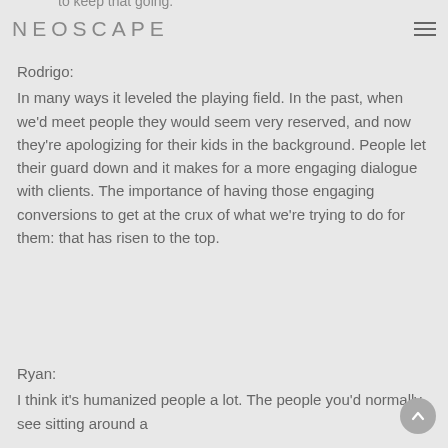to keep that going. NEOSCAPE
Rodrigo:
In many ways it leveled the playing field. In the past, when we'd meet people they would seem very reserved, and now they're apologizing for their kids in the background. People let their guard down and it makes for a more engaging dialogue with clients. The importance of having those engaging conversions to get at the crux of what we're trying to do for them: that has risen to the top.
Ryan:
I think it's humanized people a lot. The people you'd normally see sitting around a